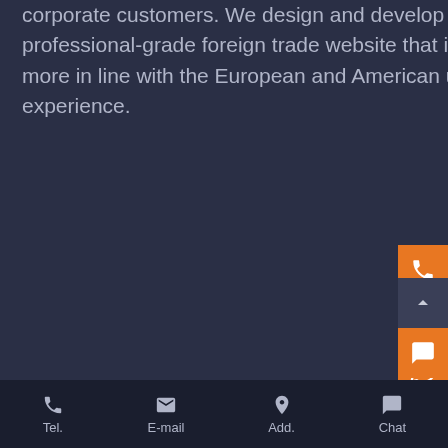corporate customers. We design and develop a professional-grade foreign trade website that is more in line with the European and American user experience.
Privacy Policy
PRODUCTS
CONTACT US
Latest Products
Electronics
Smart Speaker
Smart Watch
Electronics
Smart Speaker
Phone: +86 02584234440
E-mail: info@wppop.com
Skype: WPPOPCOM
WhatsAPP: WhatsAPP
Business hours:
Monday – Friday 8.30am – 6p
Tel.  E-mail  Add.  Chat